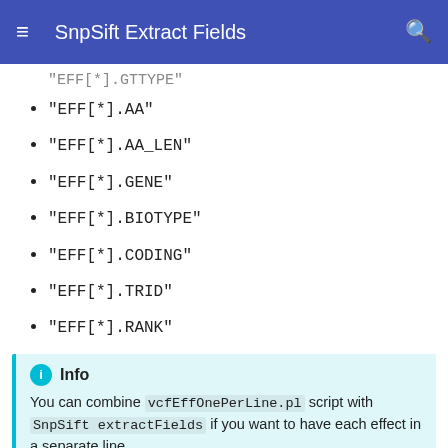SnpSift Extract Fields
"EFF[*].GTTYPE"  (partial, cut off)
"EFF[*].AA"
"EFF[*].AA_LEN"
"EFF[*].GENE"
"EFF[*].BIOTYPE"
"EFF[*].CODING"
"EFF[*].TRID"
"EFF[*].RANK"
Info
You can combine vcfEffOnePerLine.pl script with SnpSift extractFields if you want to have each effect in a separate line.